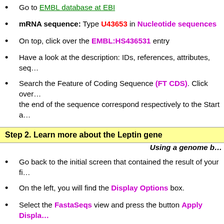Go to EMBL database at EBI
mRNA sequence: Type U43653 in Nucleotide sequences
On top, click over the EMBL:HS436531 entry
Have a look at the description: IDs, references, attributes, seq…
Search the Feature of Coding Sequence (FT CDS). Click over… the end of the sequence correspond respectively to the Start a…
Step 2. Learn more about the Leptin gene
Using a genome b…
Go back to the initial screen that contained the result of your fi…
On the left, you will find the Display Options box.
Select the FastaSeqs view and press the button Apply Displa…
Open the UCSC genome browser
Select the alignment program Blat (human genome)
Paste the Fasta sequence of the Leptin gene and submit the q…
Browse the first hit in the list of matches